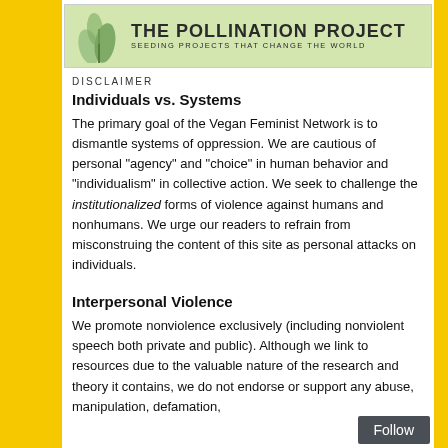[Figure (logo): The Pollination Project logo — green leaf/plant illustration with text 'THE POLLINATION PROJECT' and subtitle 'SEEDING PROJECTS THAT CHANGE THE WORLD']
[Figure (illustration): Brown square with a stylized eye icon (iris and pupil in blue/teal)]
DISCLAIMER
Individuals vs. Systems
The primary goal of the Vegan Feminist Network is to dismantle systems of oppression. We are cautious of personal "agency" and "choice" in human behavior and "individualism" in collective action. We seek to challenge the institutionalized forms of violence against humans and nonhumans. We urge our readers to refrain from misconstruing the content of this site as personal attacks on individuals.
Interpersonal Violence
We promote nonviolence exclusively (including nonviolent speech both private and public). Although we link to resources due to the valuable nature of the research and theory it contains, we do not endorse or support any abuse, manipulation, defamation,